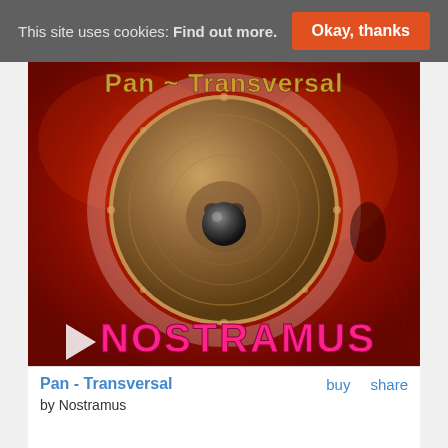This site uses cookies: Find out more. Okay, thanks
[Figure (illustration): Album cover for Pan - Transversal by Nostramus. Dark red/orange background with a large circular gong or drum in the center showing a face. Text 'Pan ~ Transversal' at the top in golden letters and 'NOSTRAMUS' in large pink/magenta letters at the bottom. A play button triangle is visible in the lower left.]
Pan - Transversal
by Nostramus